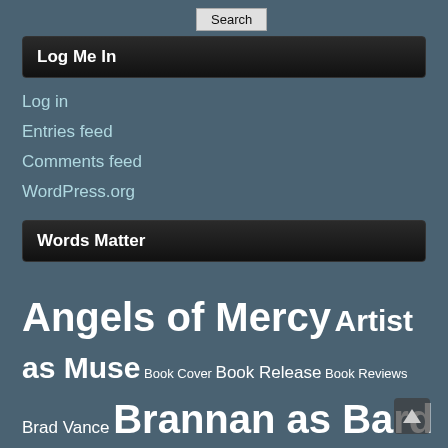Search
Log Me In
Log in
Entries feed
Comments feed
WordPress.org
Words Matter
Angels of Mercy  Artist as Muse  Book Cover  Book Release  Book Reviews  Brad Vance  Brannan as Bard  Brannan on Tour  Colby Keller  Elliot Donahey  Family  Football  gay for pay  Gay Men  gay porn  Gay Werewolves  Giving Back  Gordon Merrick  Hank O'Malley  Henry O'Malley  HOMO  Homophobia  Jay Brannan  Jayne Lockwood  John Rechy  Marco Sforza  Mercy's Little Angels  Mercy High  Mercy High Avenging Angels  Pietro Sforza